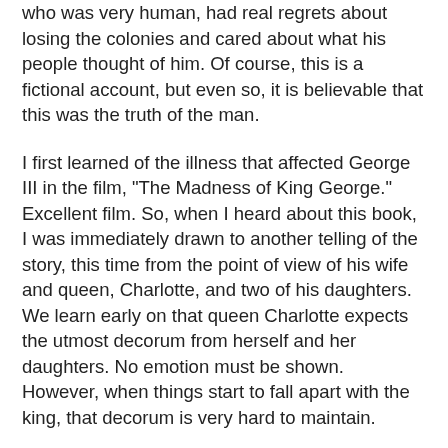who was very human, had real regrets about losing the colonies and cared about what his people thought of him. Of course, this is a fictional account, but even so, it is believable that this was the truth of the man.
I first learned of the illness that affected George III in the film, "The Madness of King George." Excellent film. So, when I heard about this book, I was immediately drawn to another telling of the story, this time from the point of view of his wife and queen, Charlotte, and two of his daughters. We learn early on that queen Charlotte expects the utmost decorum from herself and her daughters. No emotion must be shown. However, when things start to fall apart with the king, that decorum is very hard to maintain.
The author tells the story across the backdrop of the conflicts that were going on in France with the French Revolution and beyond and so we are shown the turmoil that was occurring at the time. Adding these external elements to the culture of the monarchy during George III's illness makes for a dramatic story. We experience the dread and disappointment of the daughters who are at marriageable age, but are